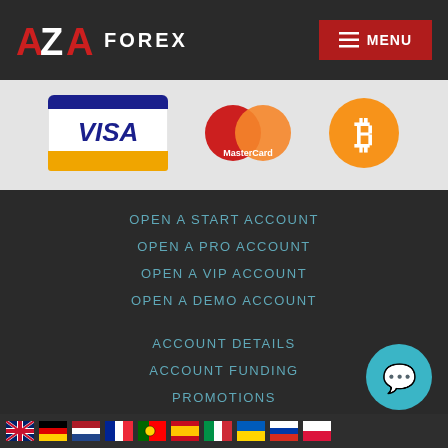AZA FOREX — MENU
[Figure (logo): VISA card logo — blue and gold on white]
[Figure (logo): MasterCard logo — red and orange overlapping circles]
[Figure (logo): Bitcoin logo — orange circle with B symbol]
OPEN A START ACCOUNT
OPEN A PRO ACCOUNT
OPEN A VIP ACCOUNT
OPEN A DEMO ACCOUNT
ACCOUNT DETAILS
ACCOUNT FUNDING
PROMOTIONS
PARTNERSHIP
TRADING TOOLS
DEPOSIT FUNDS
Language flags row